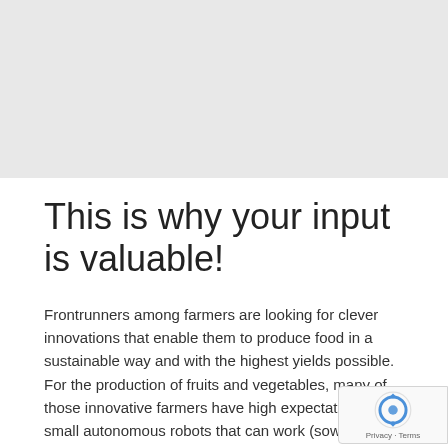[Figure (photo): Gray placeholder image area at the top of the page]
This is why your input is valuable!
Frontrunners among farmers are looking for clever innovations that enable them to produce food in a sustainable way and with the highest yields possible. For the production of fruits and vegetables, many of those innovative farmers have high expectations of small autonomous robots that can work (sow, water, weed, harvest) with high precision at the level of individual plants or fruits.
One of these farmers sees the development of a robot that